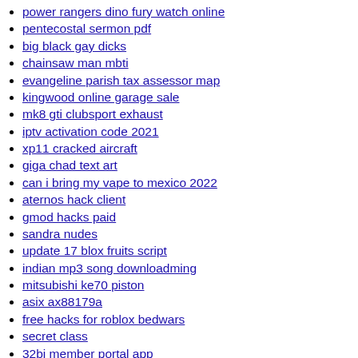power rangers dino fury watch online
pentecostal sermon pdf
big black gay dicks
chainsaw man mbti
evangeline parish tax assessor map
kingwood online garage sale
mk8 gti clubsport exhaust
iptv activation code 2021
xp11 cracked aircraft
giga chad text art
can i bring my vape to mexico 2022
aternos hack client
gmod hacks paid
sandra nudes
update 17 blox fruits script
indian mp3 song downloadming
mitsubishi ke70 piston
asix ax88179a
free hacks for roblox bedwars
secret class
32bj member portal app
bbfs 8 digit abadi
mangago me newtoki
nonton drakor happiness sub indo
ap stats unit 5 frq